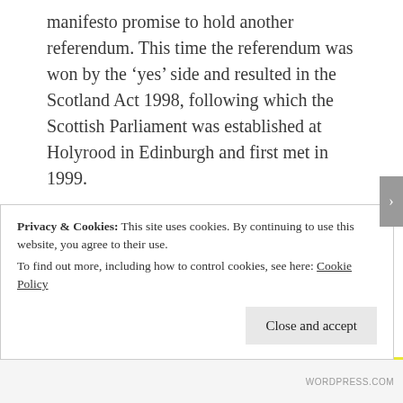manifesto promise to hold another referendum. This time the referendum was won by the 'yes' side and resulted in the Scotland Act 1998, following which the Scottish Parliament was established at Holyrood in Edinburgh and first met in 1999.
The establishment of the Scottish Parliament was not independence for Scotland, it was a devolution of powers from Westminster to Scotland. This meant that Westminster was still in charge of 'reserved' issues for the whole of the UK (constitutional matters, foreign policy, defence, immigration and social security amongst others) while Scotland now had power over
Privacy & Cookies: This site uses cookies. By continuing to use this website, you agree to their use.
To find out more, including how to control cookies, see here: Cookie Policy
Close and accept